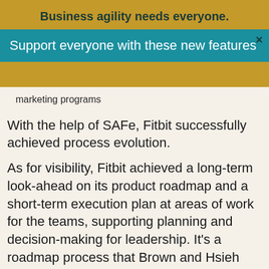Business agility needs everyone.
Support everyone with these new features
marketing programs
With the help of SAFe, Fitbit successfully achieved process evolution.
As for visibility, Fitbit achieved a long-term look-ahead on its product roadmap and a short-term execution plan at areas of work for the teams, supporting planning and decision-making for leadership. It’s a roadmap process that Brown and Hsieh credit SAFe with providing.